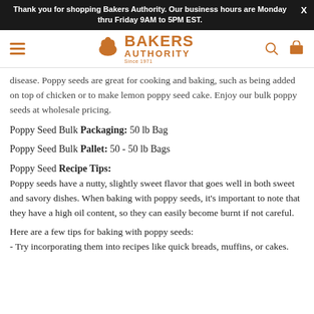Thank you for shopping Bakers Authority. Our business hours are Monday thru Friday 9AM to 5PM EST.
[Figure (logo): Bakers Authority logo with chef hat icon and orange text]
disease. Poppy seeds are great for cooking and baking, such as being added on top of chicken or to make lemon poppy seed cake. Enjoy our bulk poppy seeds at wholesale pricing.
Poppy Seed Bulk Packaging: 50 lb Bag
Poppy Seed Bulk Pallet: 50 - 50 lb Bags
Poppy Seed Recipe Tips:
Poppy seeds have a nutty, slightly sweet flavor that goes well in both sweet and savory dishes. When baking with poppy seeds, it's important to note that they have a high oil content, so they can easily become burnt if not careful.
Here are a few tips for baking with poppy seeds:
- Try incorporating them into recipes like quick breads, muffins, or cakes.